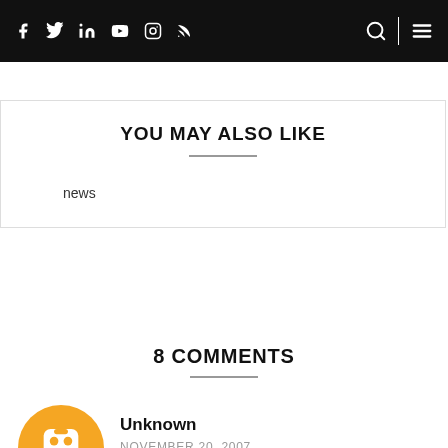Navigation bar with social icons (Facebook, Twitter, LinkedIn, YouTube, Instagram, RSS) and search/menu icons
YOU MAY ALSO LIKE
news
8 COMMENTS
Unknown
NOVEMBER 20, 2007